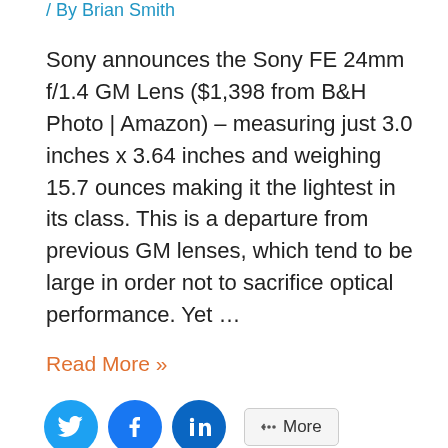/ By Brian Smith
Sony announces the Sony FE 24mm f/1.4 GM Lens ($1,398 from B&H Photo | Amazon) – measuring just 3.0 inches x 3.64 inches and weighing 15.7 ounces making it the lightest in its class. This is a departure from previous GM lenses, which tend to be large in order not to sacrifice optical performance. Yet …
Read More »
[Figure (infographic): Social share buttons: Twitter (blue circle), Facebook (blue circle), LinkedIn (blue circle), and a More button with share icon]